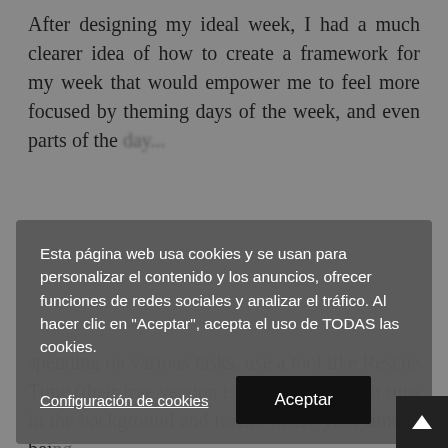After designing my ideal week, I had a much clearer idea of how to create a framework for my week that would empower me to feel more focused by theming days of the week, and even parts of the day...
Esta página web usa cookies y se usan para personalizar el contenido y los anuncios, ofrecer funciones de redes sociales y analizar el tráfico. Al hacer clic en "Aceptar", acepta el uso de TODAS las cookies.
If you're not sure how much time you are actually spending on various tasks, use a tool like Rescue Time (their free version is excellent!) which runs in the background and tracks where your time is being spent. It can even send you weekly reports so you know exactly how much time you spend...